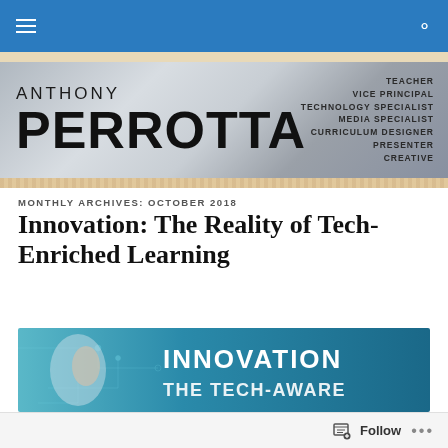Anthony Perrotta — Teacher, Vice Principal, Technology Specialist, Media Specialist, Curriculum Designer, Presenter, Creative
MONTHLY ARCHIVES: OCTOBER 2018
Innovation: The Reality of Tech-Enriched Learning
[Figure (illustration): Banner image for the article 'Innovation: The Reality of Tech-Enriched Learning' with teal/blue tech background and white bold text reading INNOVATION and partially visible THE TECH-AWARE]
Follow